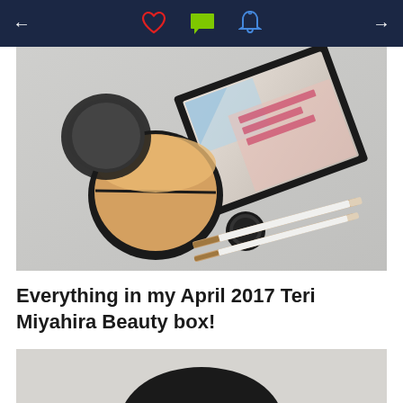← ♡ 💬 🔔 →
[Figure (photo): Flat lay of April 2017 Teri Miyahira Beauty box contents including a compact powder, makeup brushes, and a subscription box with 'Expand Your Horizons' text on gray background]
Everything in my April 2017 Teri Miyahira Beauty box!
[Figure (photo): Partial view of another beauty product on gray surface, bottom of page cropped]